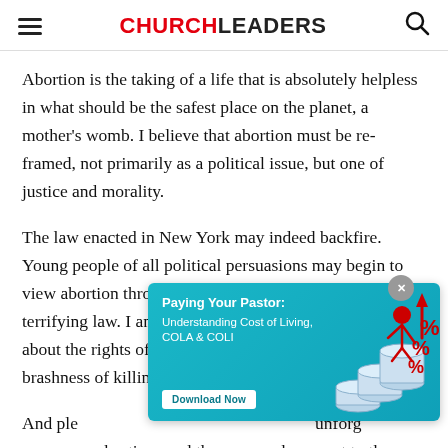CHURCHLEADERS
Abortion is the taking of a life that is absolutely helpless in what should be the safest place on the planet, a mother's womb. I believe that abortion must be re-framed, not primarily as a political issue, but one of justice and morality.
The law enacted in New York may indeed backfire. Young people of all political persuasions may begin to view abortion through a new lens as a result of this terrifying law. I am praying that many begin to wonder about the rights of the unborn because of the sheer brashness of killing a baby so close to its birth.
[Figure (infographic): Advertisement banner: 'Paying Your Pastor: Understanding Cost of Living, COLA & COLI' with Download Now button, teal background, illustration of stacked coins and a figure with percent signs]
And please know that those who perform abortions and those who unforgivably advise the abortions and the moms who assent to them can be forgiven